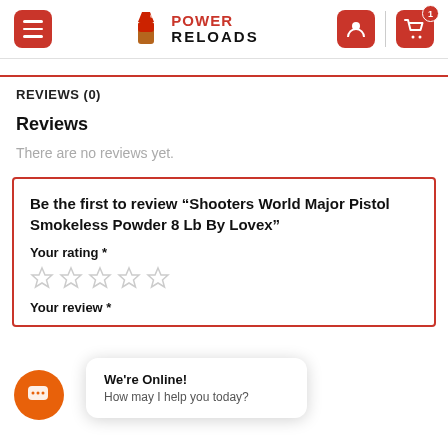Power Reloads — navigation header with menu, logo, account icon, and cart (1 item)
REVIEWS (0)
Reviews
There are no reviews yet.
Be the first to review “Shooters World Major Pistol Smokeless Powder 8 Lb By Lovex”
Your rating *
Your review *
We're Online! How may I help you today?